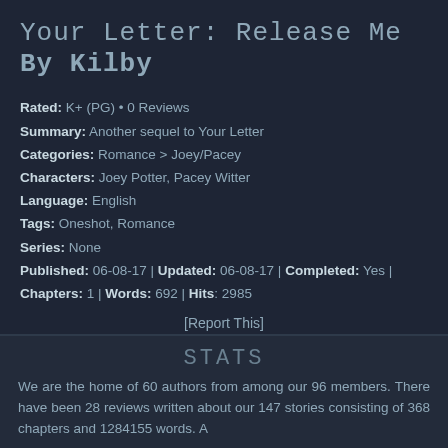Your Letter: Release Me by Kilby
Rated: K+ (PG) • 0 Reviews
Summary: Another sequel to Your Letter
Categories: Romance > Joey/Pacey
Characters: Joey Potter, Pacey Witter
Language: English
Tags: Oneshot, Romance
Series: None
Published: 06-08-17 | Updated: 06-08-17 | Completed: Yes | Chapters: 1 | Words: 692 | Hits: 2985
[Report This]
1 2 3 4 [NEXT]
STATS
We are the home of 60 authors from among our 96 members. There have been 28 reviews written about our 147 stories consisting of 368 chapters and 1284155 words. A